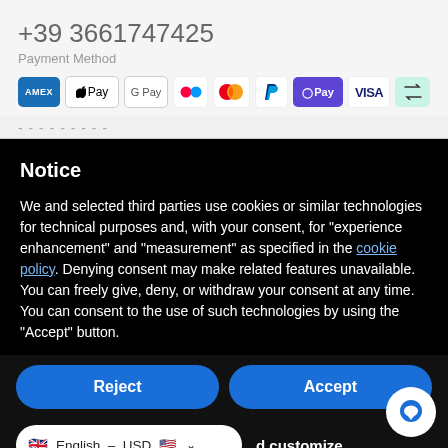+39 3661747425
Payment Method
[Figure (infographic): Payment method icons: AMEX, Apple Pay, Google Pay, Klarna, Mastercard, PayPal, DPay, VISA, Affirm]
Notice
We and selected third parties use cookies or similar technologies for technical purposes and, with your consent, for "experience enhancement" and "measurement" as specified in the cookie policy. Denying consent may make related features unavailable. You can freely give, deny, or withdraw your consent at any time. You can consent to the use of such technologies by using the "Accept" button.
Reject
Accept
English – USD
d customize